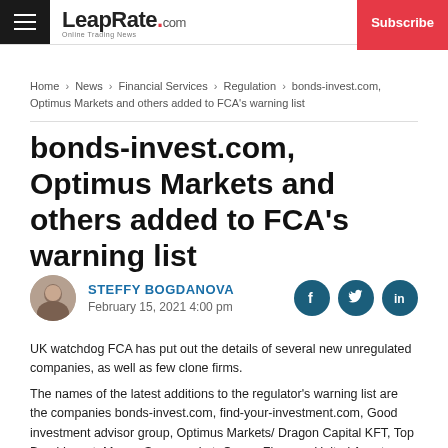LeapRate.com | Subscribe
Home › News › Financial Services › Regulation › bonds-invest.com, Optimus Markets and others added to FCA's warning list
bonds-invest.com, Optimus Markets and others added to FCA's warning list
STEFFY BOGDANOVA
February 15, 2021 4:00 pm
UK watchdog FCA has put out the details of several new unregulated companies, as well as few clone firms.
The names of the latest additions to the regulator's warning list are the companies bonds-invest.com, find-your-investment.com, Good investment advisor group, Optimus Markets/ Dragon Capital KFT, Top Bond Invest, Money Supermarket, Ocean Finance, United Asset Finance Ltd, Top Invest, True Trading, Financial Management, GTN Bond Market Ltd ...